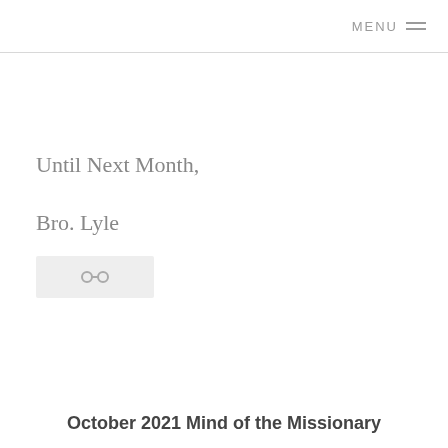MENU
Until Next Month,
Bro. Lyle
[Figure (other): Share button with chain-link icon on light gray background]
October 2021 Mind of the Missionary